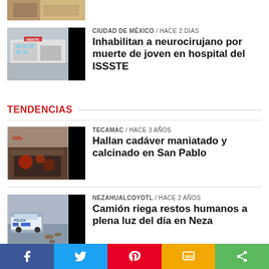[Figure (photo): Partial thumbnail visible at top of page, warm tones building/hotel]
CIUDAD DE MÉXICO / hace 2 dias
Inhabilitan a neurocirujano por muerte de joven en hospital del ISSSTE
[Figure (photo): White modern building exterior, ISSSTE hospital]
TENDENCIAS
TECAMAC / hace 3 años
Hallan cadáver maniatado y calcinado en San Pablo
[Figure (photo): Burned debris on street, crime scene Tecamac]
NEZAHUALCOYOTL / hace 2 años
Camión riega restos humanos a plena luz del día en Neza
[Figure (photo): Police vehicle at crime scene in Neza, scattered debris]
[Figure (infographic): Social media share bar: Facebook, Twitter, Pinterest, SMS, Share]